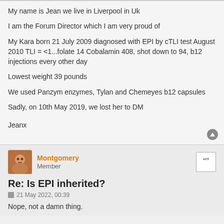My name is Jean we live in Liverpool in Uk
I am the Forum Director which I am very proud of
My Kara born 21 July 2009 diagnosed with EPI by cTLI test August 2010 TLI = <1...folate 14 Cobalamin 408, shot down to 94, b12 injections every other day
Lowest weight 39 pounds
We used Panzym enzymes, Tylan and Chemeyes b12 capsules
Sadly, on 10th May 2019, we lost her to DM
Jeanx
Montgomery
Member
Re: Is EPI inherited?
21 May 2022, 00:39
Nope, not a damn thing.